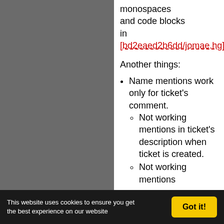monospaces and code blocks in [bd2eaed2b6dd/jomae.hg]
Another things:
Name mentions work only for ticket's comment.
Not working mentions in ticket's description when ticket is created.
Not working mentions
This website uses cookies to ensure you get the best experience on our website